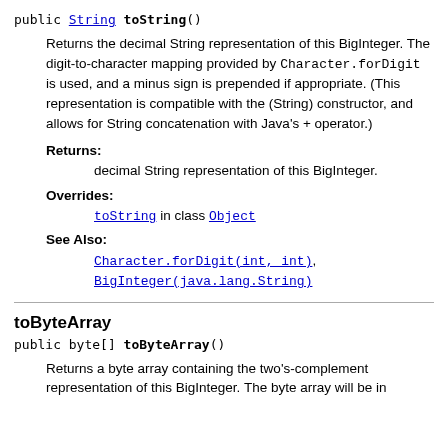public String toString()
Returns the decimal String representation of this BigInteger. The digit-to-character mapping provided by Character.forDigit is used, and a minus sign is prepended if appropriate. (This representation is compatible with the (String) constructor, and allows for String concatenation with Java's + operator.)
Returns: decimal String representation of this BigInteger.
Overrides: toString in class Object
See Also: Character.forDigit(int, int), BigInteger(java.lang.String)
toByteArray
public byte[] toByteArray()
Returns a byte array containing the two's-complement representation of this BigInteger. The byte array will be in